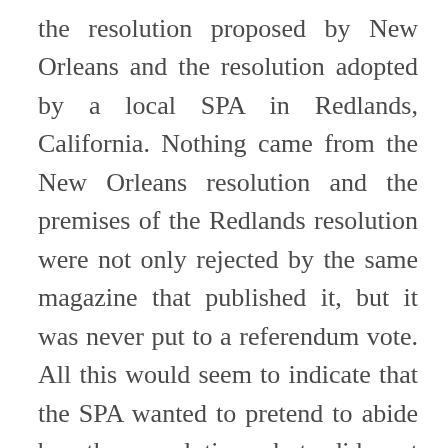the resolution proposed by New Orleans and the resolution adopted by a local SPA in Redlands, California. Nothing came from the New Orleans resolution and the premises of the Redlands resolution were not only rejected by the same magazine that published it, but it was never put to a referendum vote. All this would seem to indicate that the SPA wanted to pretend to abide by the resolution, but did not actually plan to comply.